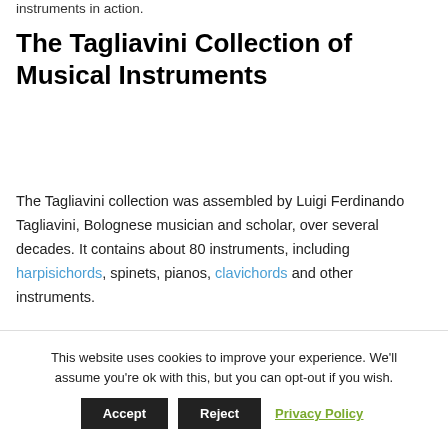instruments in action.
The Tagliavini Collection of Musical Instruments
The Tagliavini collection was assembled by Luigi Ferdinando Tagliavini, Bolognese musician and scholar, over several decades. It contains about 80 instruments, including harpisichords, spinets, pianos, clavichords and other instruments.
This website uses cookies to improve your experience. We'll assume you're ok with this, but you can opt-out if you wish. Accept Reject Privacy Policy